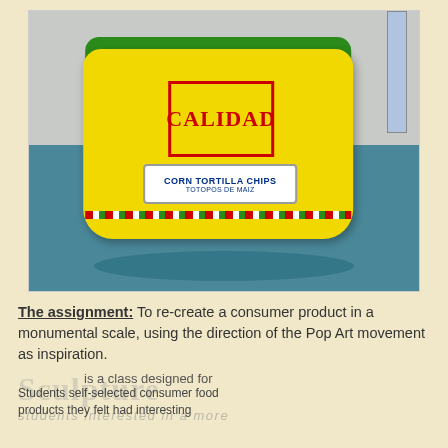[Figure (photo): A large oversized bag of Calidad brand Corn Tortilla Chips (Totopos de Maiz) sitting on a blue floor against a gray wall, with a ruler visible on the right side. The bag is yellow with green top and red decorative stripes.]
The assignment: To re-create a consumer product in a monumental scale, using the direction of the Pop Art movement as inspiration.
Sculpture is a class designed for students interested in a more Students self-selected consumer food products they felt had interesting